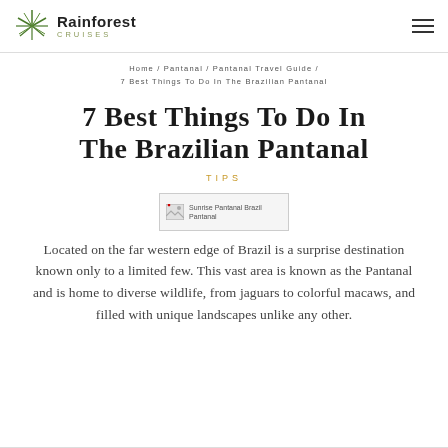Rainforest Cruises
Home / Pantanal / Pantanal Travel Guide / 7 Best Things To Do In The Brazilian Pantanal
7 Best Things To Do In The Brazilian Pantanal
TIPS
[Figure (photo): Sunrise Pantanal Brazil Pantanal (broken image placeholder)]
Located on the far western edge of Brazil is a surprise destination known only to a limited few. This vast area is known as the Pantanal and is home to diverse wildlife, from jaguars to colorful macaws, and filled with unique landscapes unlike any other.